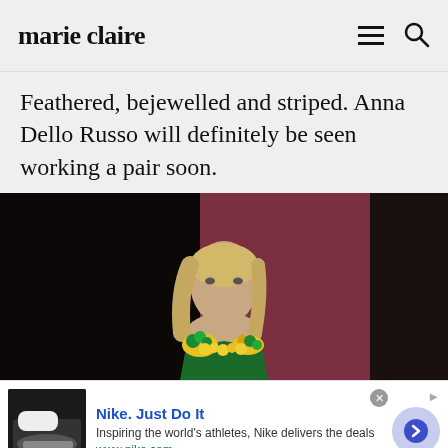marie claire
Feathered, bejewelled and striped. Anna Dello Russo will definitely be seen working a pair soon.
[Figure (photo): Fashion runway photo of a blonde model wearing a green and yellow floral/bejewelled dress against a dark and mauve background]
Nike. Just Do It
Inspiring the world's athletes, Nike delivers the deals
www.nike.com